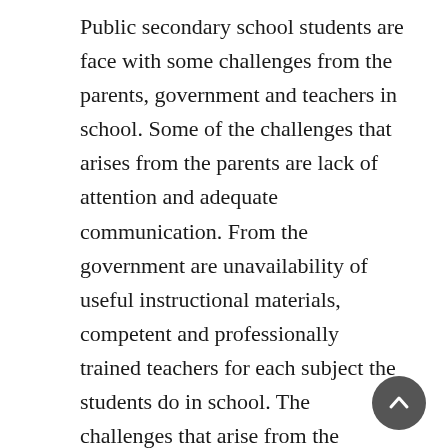Public secondary school students are face with some challenges from the parents, government and teachers in school. Some of the challenges that arises from the parents are lack of attention and adequate communication. From the government are unavailability of useful instructional materials, competent and professionally trained teachers for each subject the students do in school. The challenges that arise from the teachers most often are mismanagement of time, inability to understand the capacity of the student and lack class management and follow up. This study investigated self-regulation, emotional intelligence, self-efficacy and goal orientation as predictors of school engagement among public secondary school students in Ibadan. A structured questionnaire was administered on 258 students from six mixed secondary schools in Ibadan. Pearson Product Moment Correlation method was